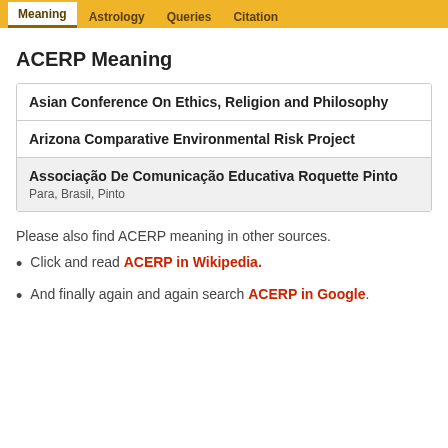Meaning | Astrology | Queries | Citation
ACERP Meaning
| Asian Conference On Ethics, Religion and Philosophy |  |
| Arizona Comparative Environmental Risk Project |  |
| Associação De Comunicação Educativa Roquette Pinto | Para, Brasil, Pinto |
Please also find ACERP meaning in other sources.
Click and read ACERP in Wikipedia.
And finally again and again search ACERP in Google.